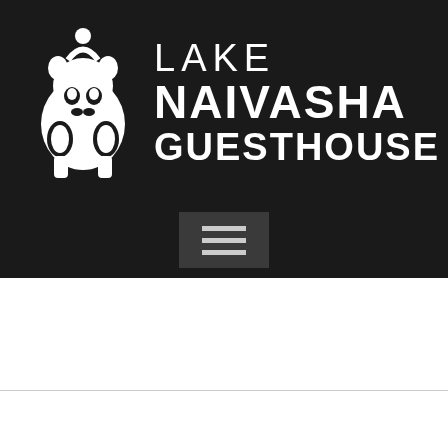[Figure (logo): Lake Naivasha Guesthouse logo: white hippopotamus/animal illustration on dark background with text LAKE NAIVASHA GUESTHOUSE in white bold uppercase letters]
[Figure (other): Navigation menu button (hamburger icon) with three horizontal lines on a dark grey square background]